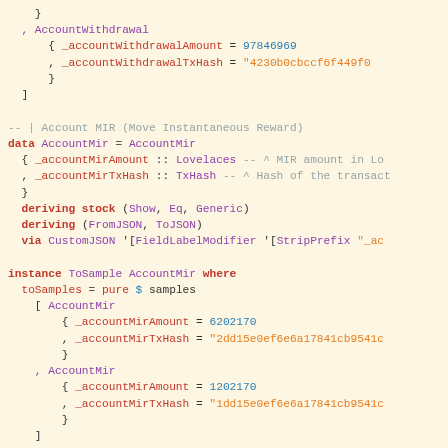Haskell source code snippet showing AccountWithdrawal and AccountMir data types with ToSample instances and AddressAssociated newtype